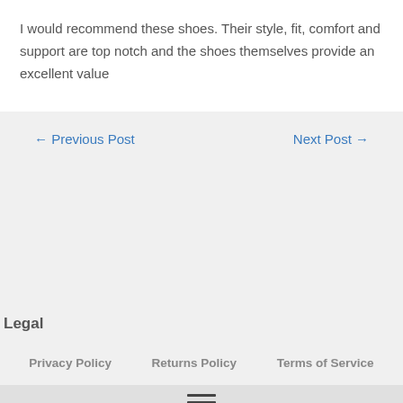I would recommend these shoes. Their style, fit, comfort and support are top notch and the shoes themselves provide an excellent value
← Previous Post
Next Post →
Legal
Privacy Policy
Returns Policy
Terms of Service